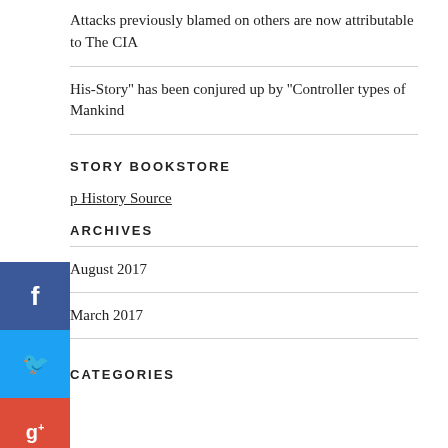Attacks previously blamed on others are now attributable to The CIA
His-Story'' has been conjured up by ''Controller types of Mankind
STORY BOOKSTORE
p History Source
ARCHIVES
August 2017
March 2017
CATEGORIES